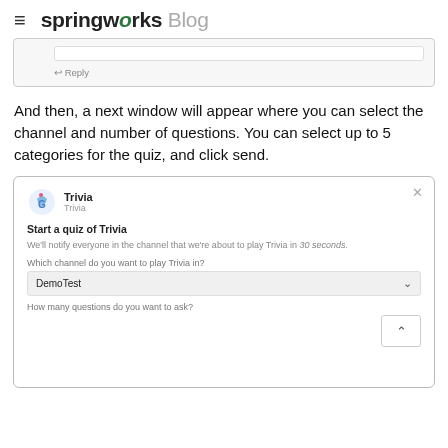springworks Blog
[Figure (screenshot): Partial screenshot showing a reply bar and reply link in a comment interface]
And then, a next window will appear where you can select the channel and number of questions. You can select up to 5 categories for the quiz, and click send.
[Figure (screenshot): Screenshot of Trivia app dialog: 'Start a quiz of Trivia'. Shows notification text, channel selector with 'DemoTest' selected, and question count input with up/down arrows.]